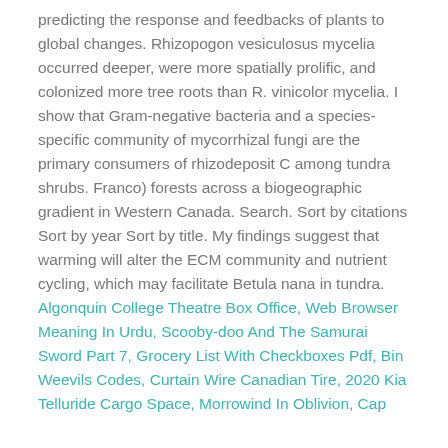predicting the response and feedbacks of plants to global changes. Rhizopogon vesiculosus mycelia occurred deeper, were more spatially prolific, and colonized more tree roots than R. vinicolor mycelia. I show that Gram-negative bacteria and a species-specific community of mycorrhizal fungi are the primary consumers of rhizodeposit C among tundra shrubs. Franco) forests across a biogeographic gradient in Western Canada. Search. Sort by citations Sort by year Sort by title. My findings suggest that warming will alter the ECM community and nutrient cycling, which may facilitate Betula nana in tundra.
Algonquin College Theatre Box Office, Web Browser Meaning In Urdu, Scooby-doo And The Samurai Sword Part 7, Grocery List With Checkboxes Pdf, Bin Weevils Codes, Curtain Wire Canadian Tire, 2020 Kia Telluride Cargo Space, Morrowind In Oblivion, Cap